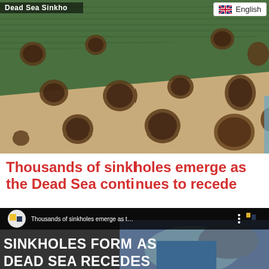[Figure (photo): Aerial view of Dead Sea sinkholes — circular depressions in sandy terrain next to green agricultural fields, viewed from above.]
Dead Sea Sinkholes
English
Thousands of sinkholes emerge as the Dead Sea continues to recede
[Figure (screenshot): Video thumbnail showing sinkholes near the Dead Sea, with overlay title 'Thousands of sinkholes emerge as t…' and large text 'SINKHOLES FORM AS DEAD SEA RECEDES']